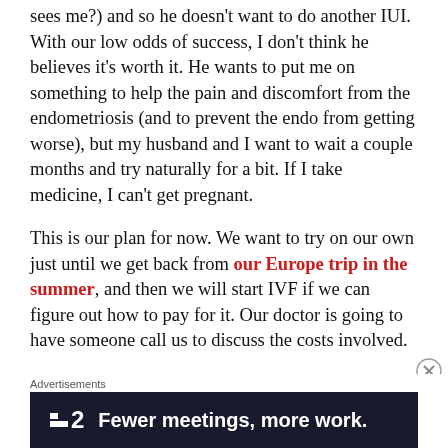sees me?) and so he doesn't want to do another IUI. With our low odds of success, I don't think he believes it's worth it. He wants to put me on something to help the pain and discomfort from the endometriosis (and to prevent the endo from getting worse), but my husband and I want to wait a couple months and try naturally for a bit. If I take medicine, I can't get pregnant.

This is our plan for now. We want to try on our own just until we get back from our Europe trip in the summer, and then we will start IVF if we can figure out how to pay for it. Our doctor is going to have someone call us to discuss the costs involved.
[Figure (other): Advertisement banner for a product called '2' with the tagline 'Fewer meetings, more work.' on a dark navy background with white text and a small white square logo icon.]